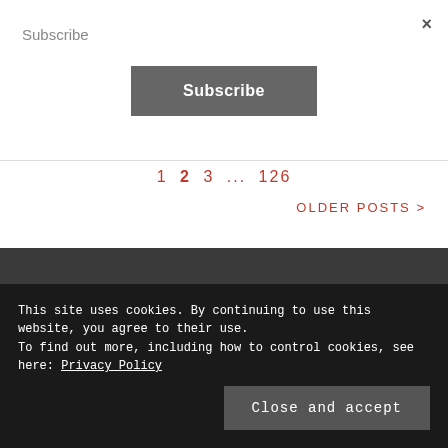Subscribe
×
Subscribe
1  2  3  ...  126
OLDER POSTS >
This site uses cookies. By continuing to use this website, you agree to their use.
To find out more, including how to control cookies, see here: Privacy Policy
Close and accept